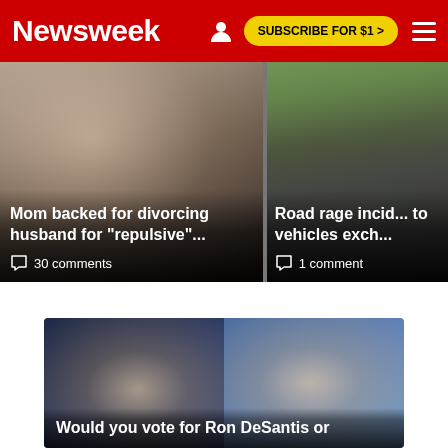Newsweek | SUBSCRIBE FOR $1 >
[Figure (photo): News article card: woman crying, couple in background. Headline: Mom backed for divorcing husband for "repulsive"... 30 comments]
[Figure (photo): News article card: highway with cars. Headline: Road rage incid... to vehicles exch... 1 comment]
[Figure (photo): News article card: split photo of Ron DeSantis and Joe Biden. Headline: Would you vote for Ron DeSantis or]